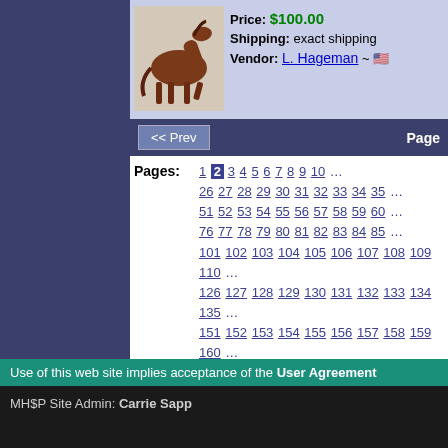[Figure (photo): Brown horse figurine/model on light background]
Price: $100.00
Shipping: exact shipping
Vendor: L. Hageman ~
<< Prev   Page
Pages: 1 2 3 4 5 6 7 8 9 10 ... 26 27 28 29 30 31 32 33 34 35 ... 51 52 53 54 55 56 57 58 59 60 ... 76 77 78 79 80 81 82 83 84 85 ... 101 102 103 104 105 106 107 108 109 110 ... 126 127 128 129 130 131 132 133 134 135 ... 151 152 153 154 155 156 157 158 159 160 ... 176 177 178 179 180 181 182 183 184 185 ... 201 202 203 204 205 206 207 208 209 210 ... 226 227 228 229 230 231 232 233 234 235 ... 251 252 253 254 255 256 257 258 259 260 ... 276 277 278 279 280 281 282 283 284 285 ... 301 302 303 304 305
Use of this web site implies acceptance of the User Agreement
MH$P Site Admin: Carrie Sapp